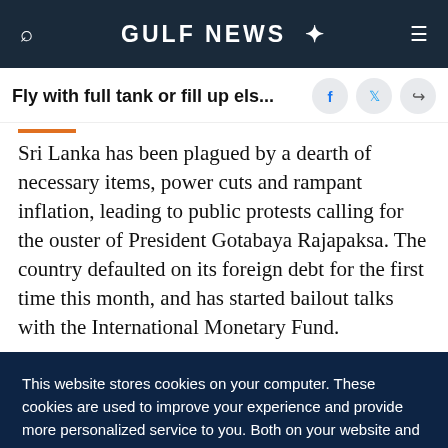GULF NEWS
Fly with full tank or fill up els...
Sri Lanka has been plagued by a dearth of necessary items, power cuts and rampant inflation, leading to public protests calling for the ouster of President Gotabaya Rajapaksa. The country defaulted on its foreign debt for the first time this month, and has started bailout talks with the International Monetary Fund.
This website stores cookies on your computer. These cookies are used to improve your experience and provide more personalized service to you. Both on your website and other media. To find out more about the cookies and data we use, please check out our Privacy Policy.
OK